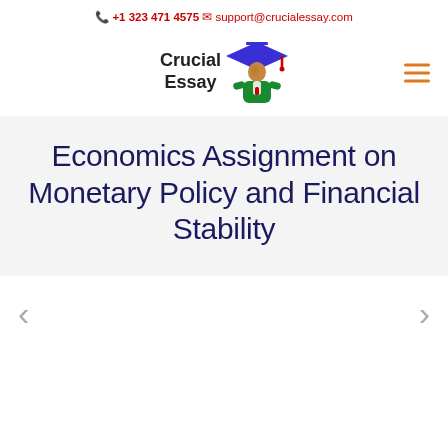📞 +1 323 471 4575   ✉ support@crucialessay.com
[Figure (logo): Crucial Essay logo with graduation figure icon and text 'Crucial Essay']
Economics Assignment on Monetary Policy and Financial Stability